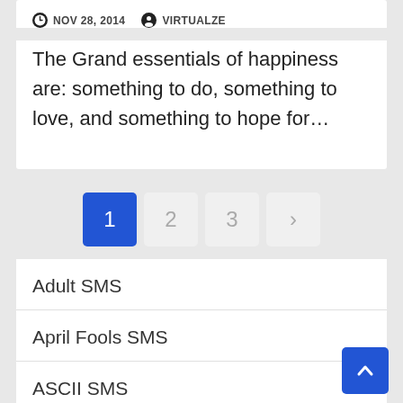NOV 28, 2014   VIRTUALZE
The Grand essentials of happiness are: something to do, something to love, and something to hope for…
1
2
3
>
Adult SMS
April Fools SMS
ASCII SMS
Birthday SMS